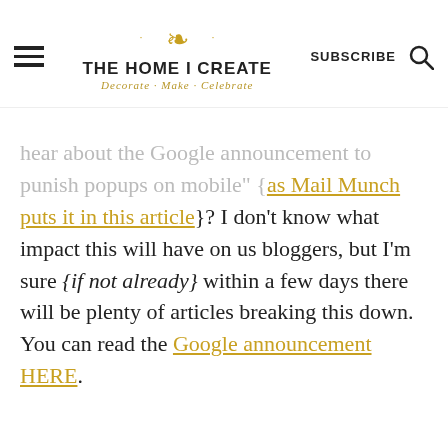THE HOME I CREATE • Decorate · Make · Celebrate
hear about the Google announcement to punish popups on mobile" {as Mail Munch puts it in this article}? I don't know what impact this will have on us bloggers, but I'm sure {if not already} within a few days there will be plenty of articles breaking this down. You can read the Google announcement HERE.